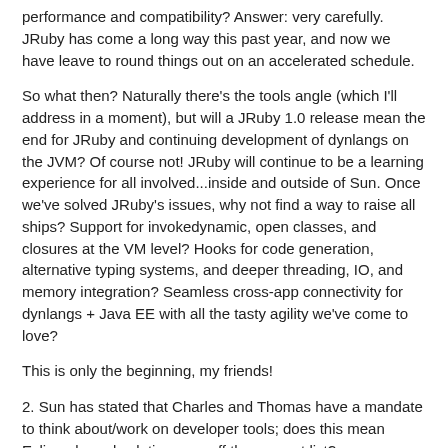performance and compatibility? Answer: very carefully. JRuby has come a long way this past year, and now we have leave to round things out on an accelerated schedule.
So what then? Naturally there's the tools angle (which I'll address in a moment), but will a JRuby 1.0 release mean the end for JRuby and continuing development of dynlangs on the JVM? Of course not! JRuby will continue to be a learning experience for all involved...inside and outside of Sun. Once we've solved JRuby's issues, why not find a way to raise all ships? Support for invokedynamic, open classes, and closures at the VM level? Hooks for code generation, alternative typing systems, and deeper threading, IO, and memory integration? Seamless cross-app connectivity for dynlangs + Java EE with all the tasty agility we've come to love?
This is only the beginning, my friends!
2. Sun has stated that Charles and Thomas have a mandate to think about/work on developer tools; does this mean Eclipse-based solutions are off the support list?